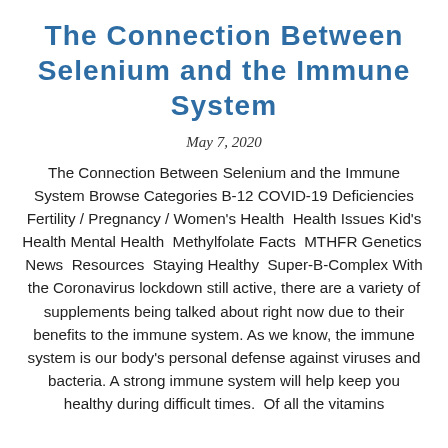The Connection Between Selenium and the Immune System
May 7, 2020
The Connection Between Selenium and the Immune System Browse Categories B-12 COVID-19 Deficiencies Fertility / Pregnancy / Women's Health Health Issues Kid's Health Mental Health Methylfolate Facts MTHFR Genetics News Resources Staying Healthy Super-B-Complex With the Coronavirus lockdown still active, there are a variety of supplements being talked about right now due to their benefits to the immune system. As we know, the immune system is our body's personal defense against viruses and bacteria. A strong immune system will help keep you healthy during difficult times. Of all the vitamins